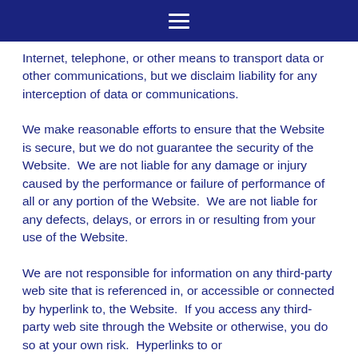☰
Internet, telephone, or other means to transport data or other communications, but we disclaim liability for any interception of data or communications.
We make reasonable efforts to ensure that the Website is secure, but we do not guarantee the security of the Website.  We are not liable for any damage or injury caused by the performance or failure of performance of all or any portion of the Website.  We are not liable for any defects, delays, or errors in or resulting from your use of the Website.
We are not responsible for information on any third-party web site that is referenced in, or accessible or connected by hyperlink to, the Website.  If you access any third- party web site through the Website or otherwise, you do so at your own risk.  Hyperlinks to or